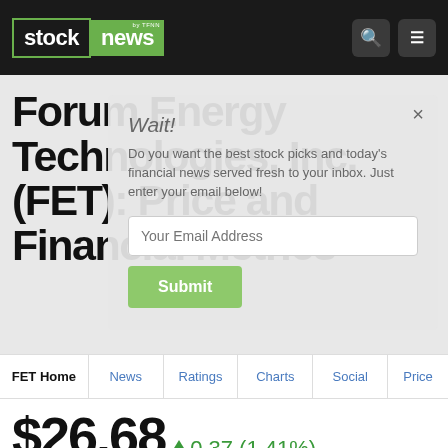stock news
Forum Energy Technologies, Inc. (FET): Price and Financial Metrics
[Figure (screenshot): Modal popup overlay: 'Wait!' headline with text 'Do you want the best stock picks and today's financial news served fresh to your inbox. Just enter your email below!' with email input field and Submit button]
FET Home | News | Ratings | Charts | Social | Price
$26.68 ▲0.37 (1.41%)